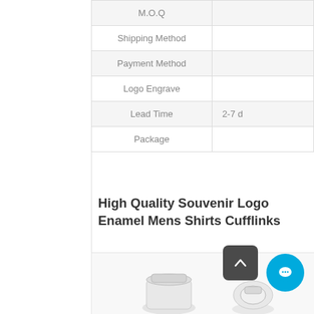|  |  |
| --- | --- |
| M.O.Q |  |
| Shipping Method |  |
| Payment Method |  |
| Logo Engrave |  |
| Lead Time | 2-7 d |
| Package |  |
High Quality Souvenir Logo Enamel Mens Shirts Cufflinks
[Figure (photo): Product photo of silver cufflinks, partially visible at bottom of page]